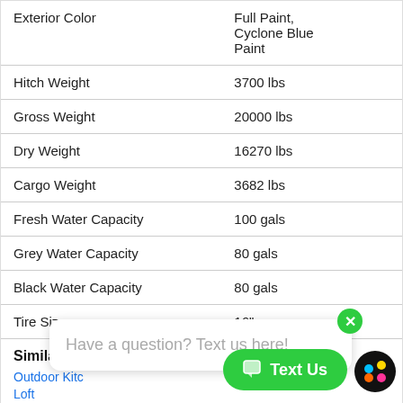| Attribute | Value |
| --- | --- |
| Exterior Color | Full Paint, Cyclone Blue Paint |
| Hitch Weight | 3700 lbs |
| Gross Weight | 20000 lbs |
| Dry Weight | 16270 lbs |
| Cargo Weight | 3682 lbs |
| Fresh Water Capacity | 100 gals |
| Grey Water Capacity | 80 gals |
| Black Water Capacity | 80 gals |
| Tire Size | 16" |
Similar Floorplans
Outdoor Kitchen
Loft
Two Entry/Exit Doors
Have a question? Text us here!